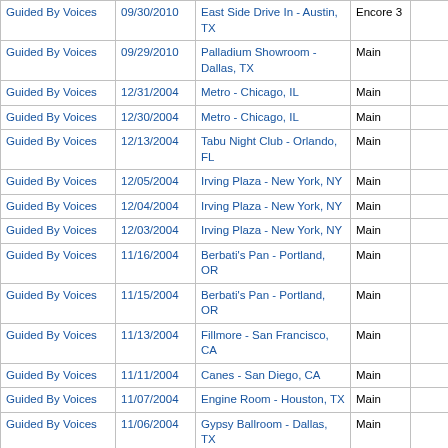| Artist | Date | Venue | Set |  |  |
| --- | --- | --- | --- | --- | --- |
| Guided By Voices | 09/30/2010 | East Side Drive In - Austin, TX | Encore 3 |  |  |
| Guided By Voices | 09/29/2010 | Palladium Showroom - Dallas, TX | Main |  |  |
| Guided By Voices | 12/31/2004 | Metro - Chicago, IL | Main |  |  |
| Guided By Voices | 12/30/2004 | Metro - Chicago, IL | Main |  |  |
| Guided By Voices | 12/13/2004 | Tabu Night Club - Orlando, FL | Main |  |  |
| Guided By Voices | 12/05/2004 | Irving Plaza - New York, NY | Main |  |  |
| Guided By Voices | 12/04/2004 | Irving Plaza - New York, NY | Main |  |  |
| Guided By Voices | 12/03/2004 | Irving Plaza - New York, NY | Main |  |  |
| Guided By Voices | 11/16/2004 | Berbati's Pan - Portland, OR | Main |  |  |
| Guided By Voices | 11/15/2004 | Berbati's Pan - Portland, OR | Main |  |  |
| Guided By Voices | 11/13/2004 | Fillmore - San Francisco, CA | Main |  |  |
| Guided By Voices | 11/11/2004 | Canes - San Diego, CA | Main |  |  |
| Guided By Voices | 11/07/2004 | Engine Room - Houston, TX | Main |  |  |
| Guided By Voices | 11/06/2004 | Gypsy Ballroom - Dallas, TX | Main |  |  |
| Guided By Voices | 11/05/2004 | Stubb's - Austin, TX | Main |  |  |
| Guided By Voices | 11/03/2004 | 40 Watt Club - Athens, GA | Main |  |  |